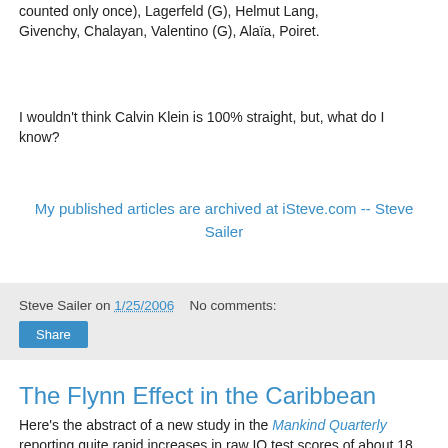counted only once), Lagerfeld (G), Helmut Lang, Givenchy, Chalayan, Valentino (G), Alaïa, Poiret.
I wouldn't think Calvin Klein is 100% straight, but, what do I know?
My published articles are archived at iSteve.com -- Steve Sailer
Steve Sailer on 1/25/2006   No comments:
Share
The Flynn Effect in the Caribbean
Here's the abstract of a new study in the Mankind Quarterly reporting quite rapid increases in raw IQ test scores of about 18 points over 25 years: